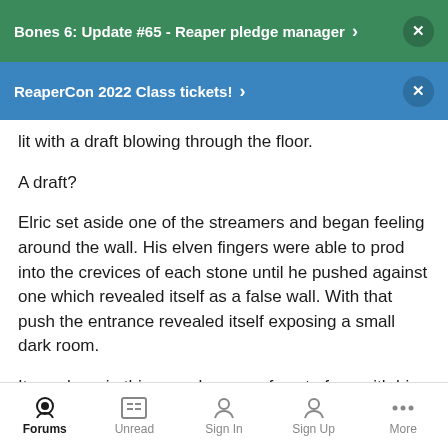Bones 6: Update #65 - Reaper pledge manager
ReaperCon 2022 Class tickets!
lit with a draft blowing through the floor.
A draft?
Elric set aside one of the streamers and began feeling around the wall. His elven fingers were able to prod into the crevices of each stone until he pushed against one which revealed itself as a false wall. With that push the entrance revealed itself exposing a small dark room.
It was here in this room he came face to face with his destiny. It was encased in a bone white scabbard with a single notch allowing
the blade to be drawn with the push of his thumb. Odds on hit
Forums   Unread   Sign In   Sign Up   More